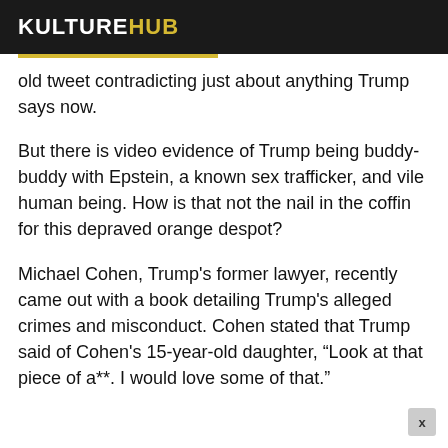KULTUREHUB
old tweet contradicting just about anything Trump says now.
But there is video evidence of Trump being buddy-buddy with Epstein, a known sex trafficker, and vile human being. How is that not the nail in the coffin for this depraved orange despot?
Michael Cohen, Trump's former lawyer, recently came out with a book detailing Trump's alleged crimes and misconduct. Cohen stated that Trump said of Cohen's 15-year-old daughter, “Look at that piece of a**. I would love some of that.”